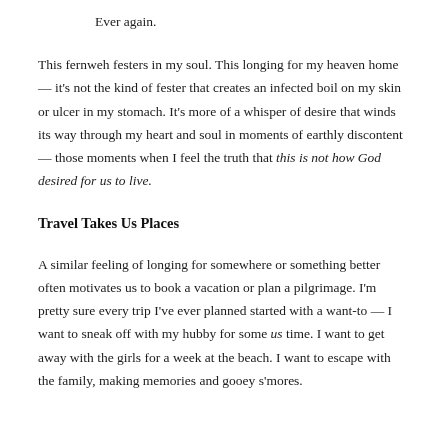Ever again.
This fernweh festers in my soul. This longing for my heaven home — it's not the kind of fester that creates an infected boil on my skin or ulcer in my stomach. It's more of a whisper of desire that winds its way through my heart and soul in moments of earthly discontent — those moments when I feel the truth that this is not how God desired for us to live.
Travel Takes Us Places
A similar feeling of longing for somewhere or something better often motivates us to book a vacation or plan a pilgrimage. I'm pretty sure every trip I've ever planned started with a want-to — I want to sneak off with my hubby for some us time. I want to get away with the girls for a week at the beach. I want to escape with the family, making memories and gooey s'mores.